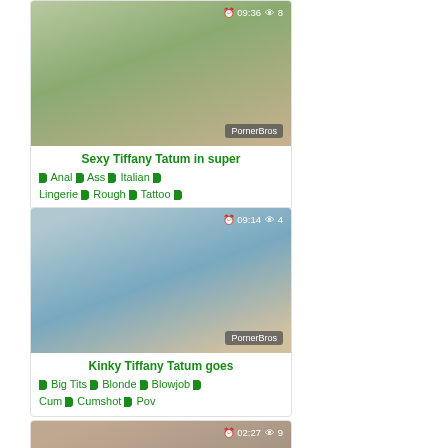[Figure (photo): Video thumbnail 1 with overlay showing 09:36 duration and view count 8, PornerBros watermark]
Sexy Tiffany Tatum in super
Anal  Ass  Italian  Lingerie  Rough  Tattoo
[Figure (photo): Video thumbnail 2 with overlay showing 09:14 duration and view count 4, PornerBros watermark]
Kinky Tiffany Tatum goes
Big Tits  Blonde  Blowjob  Cum  Cumshot  Pov
[Figure (photo): Video thumbnail 3 with overlay showing 02:27 duration and view count 9, partially visible at bottom]